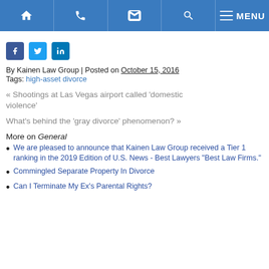Navigation bar with home, phone, email, search, and menu icons
[Figure (other): Social media share icons: Facebook (dark blue), Twitter (light blue), LinkedIn (dark blue)]
By Kainen Law Group | Posted on October 15, 2016
Tags: high-asset divorce
« Shootings at Las Vegas airport called 'domestic violence'
What's behind the 'gray divorce' phenomenon? »
More on General
We are pleased to announce that Kainen Law Group received a Tier 1 ranking in the 2019 Edition of U.S. News - Best Lawyers "Best Law Firms."
Commingled Separate Property In Divorce
Can I Terminate My Ex's Parental Rights?